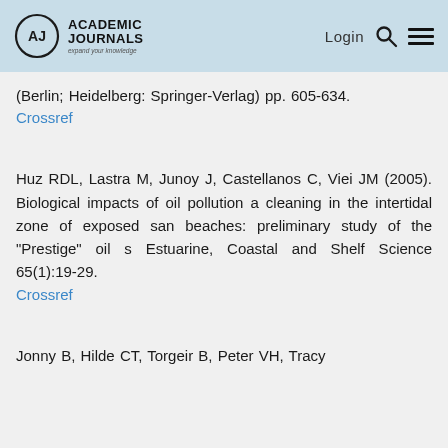Academic Journals — Login
(Berlin; Heidelberg: Springer-Verlag) pp. 605-634
Crossref
Huz RDL, Lastra M, Junoy J, Castellanos C, Viei JM (2005). Biological impacts of oil pollution and cleaning in the intertidal zone of exposed sandy beaches: preliminary study of the "Prestige" oil s Estuarine, Coastal and Shelf Science 65(1):19-29.
Crossref
Jonny B, Hilde CT, Torgeir B, Peter VH, Tracy